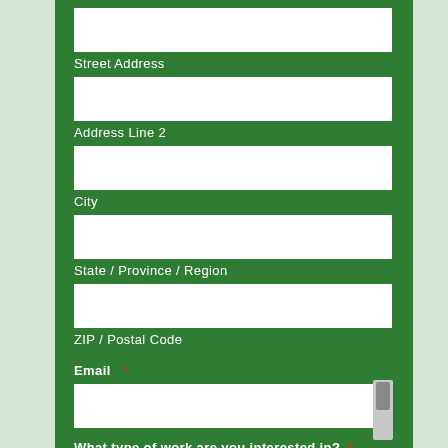Street Address
Address Line 2
City
State / Province / Region
ZIP / Postal Code
Email *
What type of work are you interested in? *